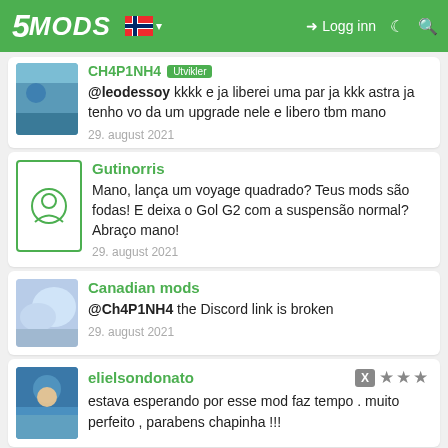5MODS - Logg inn
@leodessoy kkkk e ja liberei uma par ja kkk astra ja tenho vo da um upgrade nele e libero tbm mano
29. august 2021
Gutinorris
Mano, lança um voyage quadrado? Teus mods são fodas! E deixa o Gol G2 com a suspensão normal? Abraço mano!
29. august 2021
Canadian mods
@Ch4P1NH4 the Discord link is broken
29. august 2021
elielsondonato
estava esperando por esse mod faz tempo . muito perfeito , parabens chapinha !!!